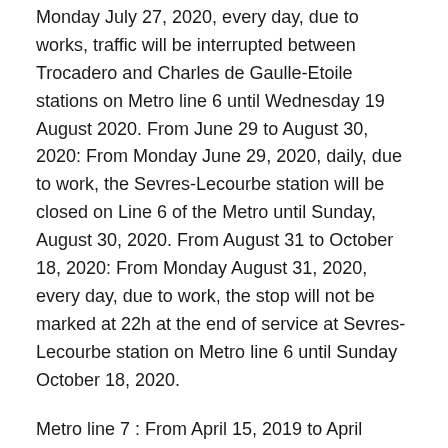Monday July 27, 2020, every day, due to works, traffic will be interrupted between Trocadero and Charles de Gaulle-Etoile stations on Metro line 6 until Wednesday 19 August 2020. From June 29 to August 30, 2020: From Monday June 29, 2020, daily, due to work, the Sevres-Lecourbe station will be closed on Line 6 of the Metro until Sunday, August 30, 2020. From August 31 to October 18, 2020: From Monday August 31, 2020, every day, due to work, the stop will not be marked at 22h at the end of service at Sevres-Lecourbe station on Metro line 6 until Sunday October 18, 2020.
Metro line 7 : From April 15, 2019 to April 2021: Due to renovations, the connecting corridor is closed between Auber and Opéra from April 15, 2019.
Metro line 13: From June 1 to 4, 2020: From Monday